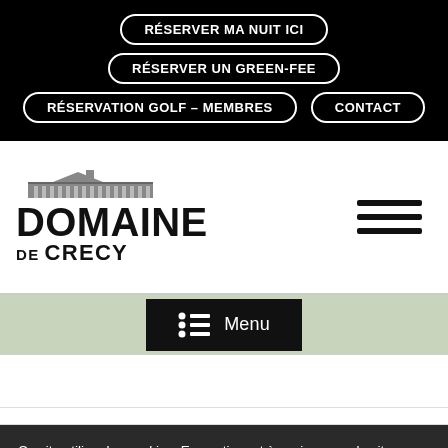RÉSERVER MA NUIT ICI
RÉSERVER UN GREEN-FEE
RÉSERVATION GOLF – MEMBRES
CONTACT
[Figure (logo): Domaine de Crecy logo with building illustration and hamburger menu icon]
Menu
Ce site utilise des cookies. En continuant à naviguer sur le site, vous acceptez leur utilisation.
J'accepte
Je refuse
infos +